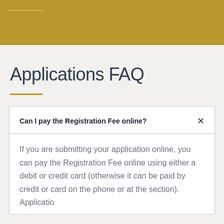Applications FAQ
Can I pay the Registration Fee online?
If you are submitting your application online, you can pay the Registration Fee online using either a debit or credit card (otherwise it can be paid by credit or card on the phone or at the section). Applicatio…